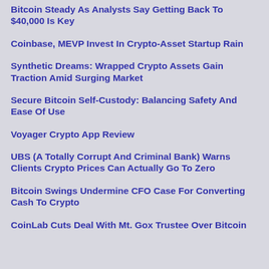Bitcoin Steady As Analysts Say Getting Back To $40,000 Is Key
Coinbase, MEVP Invest In Crypto-Asset Startup Rain
Synthetic Dreams: Wrapped Crypto Assets Gain Traction Amid Surging Market
Secure Bitcoin Self-Custody: Balancing Safety And Ease Of Use
Voyager Crypto App Review
UBS (A Totally Corrupt And Criminal Bank) Warns Clients Crypto Prices Can Actually Go To Zero
Bitcoin Swings Undermine CFO Case For Converting Cash To Crypto
CoinLab Cuts Deal With Mt. Gox Trustee Over Bitcoin